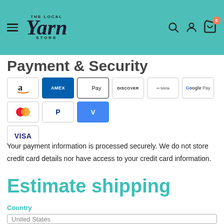The Local Yarn Store — navigation header with logo, hamburger menu, search, account, and cart icons
Payment & Security
[Figure (other): Payment method icons: Amazon Pay, American Express, Apple Pay, Discover, Meta Pay, Google Pay, Mastercard, PayPal, Venmo, Visa]
Your payment information is processed securely. We do not store credit card details nor have access to your credit card information.
Estimate shipping
Country
United States